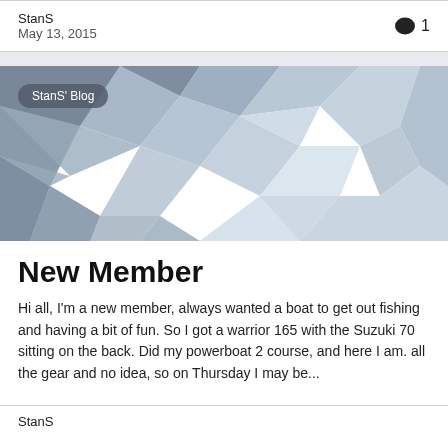StanS
May 13, 2015
[Figure (illustration): Low-poly geometric abstract banner in shades of grey and light blue with a dark rounded pill label reading 'StanS\' Blog']
New Member
Hi all, I'm a new member, always wanted a boat to get out fishing and having a bit of fun. So I got a warrior 165 with the Suzuki 70 sitting on the back. Did my powerboat 2 course, and here I am. all the gear and no idea, so on Thursday I may be...
StanS